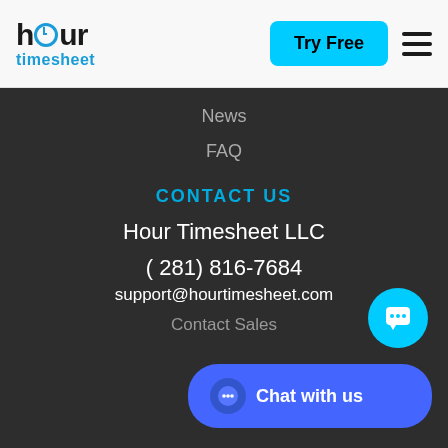[Figure (logo): Hour Timesheet logo with clock icon and cyan 'timesheet' text]
Try Free
News
FAQ
CONTACT US
Hour Timesheet LLC
( 281) 816-7684
support@hourtimesheet.com
Contact Sales
[Figure (illustration): Cyan circular chat icon button]
[Figure (illustration): Blue 'Chat with us' button with chat bubble icon]